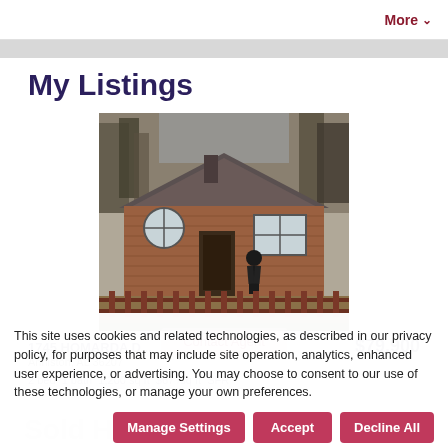More
My Listings
[Figure (photo): Exterior photo of a single-story brick ranch house with a wooden picket fence in front, trees visible in background, a person standing near the entrance]
1745 HOMARDA D...
$79,900
Anniston, AL 36207
2 bed  1 bath  1,200  sq ft  $67 /sq ft  SFR
This site uses cookies and related technologies, as described in our privacy policy, for purposes that may include site operation, analytics, enhanced user experience, or advertising. You may choose to consent to our use of these technologies, or manage your own preferences.
Contact Agent
Manage Settings
Accept
Decline All
Sold Homes